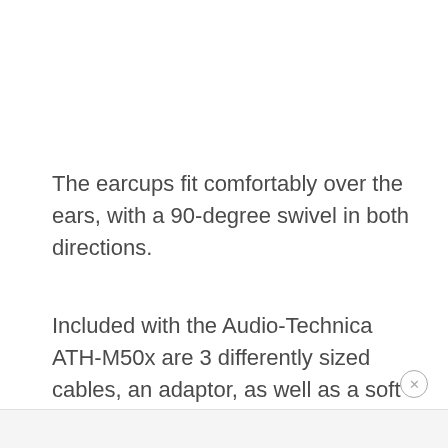The earcups fit comfortably over the ears, with a 90-degree swivel in both directions.
Included with the Audio-Technica ATH-M50x are 3 differently sized cables, an adaptor, as well as a soft carrying pouch.